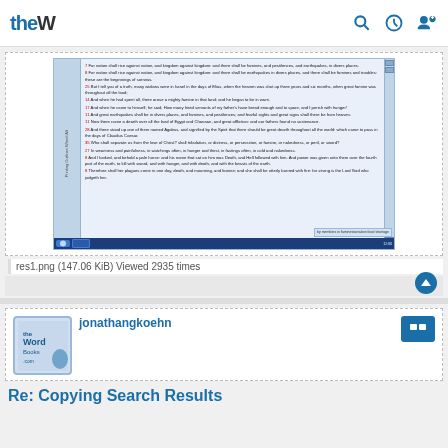theW [navigation bar with logo and icons]
[Figure (screenshot): Screenshot of a word processor showing Bible verses with red letter text, including passages about famines, earthquakes, and pestilences. Windows 7 taskbar visible at bottom.]
res1.png (147.06 KiB) Viewed 2935 times
jonathangkoehn
Re: Copying Search Results